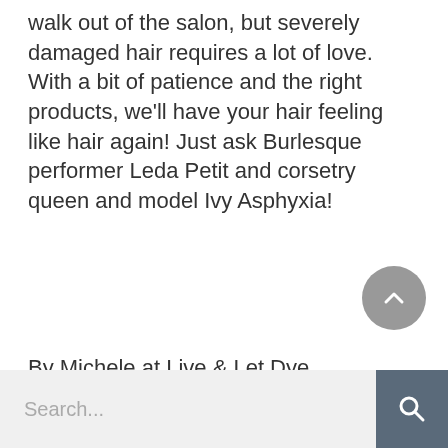walk out of the salon, but severely damaged hair requires a lot of love. With a bit of patience and the right products, we'll have your hair feeling like hair again! Just ask Burlesque performer Leda Petit and corsetry queen and model Ivy Asphyxia!
By Michele at Live & Let Dye
May 14, 2013